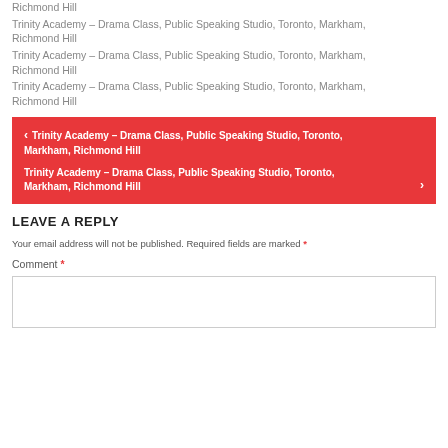Richmond Hill
Trinity Academy – Drama Class, Public Speaking Studio, Toronto, Markham, Richmond Hill
Trinity Academy – Drama Class, Public Speaking Studio, Toronto, Markham, Richmond Hill
Trinity Academy – Drama Class, Public Speaking Studio, Toronto, Markham, Richmond Hill
< Trinity Academy – Drama Class, Public Speaking Studio, Toronto, Markham, Richmond Hill
Trinity Academy – Drama Class, Public Speaking Studio, Toronto, Markham, Richmond Hill >
LEAVE A REPLY
Your email address will not be published. Required fields are marked *
Comment *